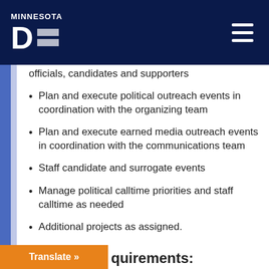MINNESOTA DFL
officials, candidates and supporters
Plan and execute political outreach events in coordination with the organizing team
Plan and execute earned media outreach events in coordination with the communications team
Staff candidate and surrogate events
Manage political calltime priorities and staff calltime as needed
Additional projects as assigned.
quirements: